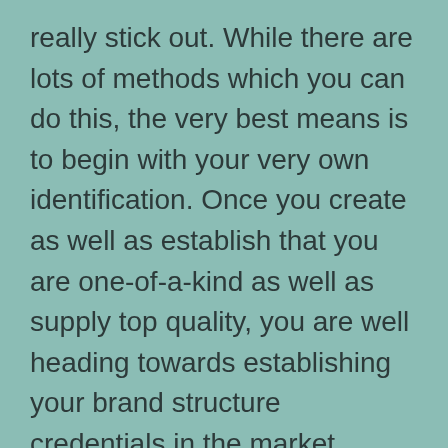really stick out. While there are lots of methods which you can do this, the very best means is to begin with your very own identification. Once you create as well as establish that you are one-of-a-kind as well as supply top quality, you are well heading towards establishing your brand structure credentials in the market.

The most effective method to do this is to embrace an incorporated technique. You need to utilize various media, including the web, offline, and social networks. You require to give value to your prospective customers as well as this needs structure on your customers'